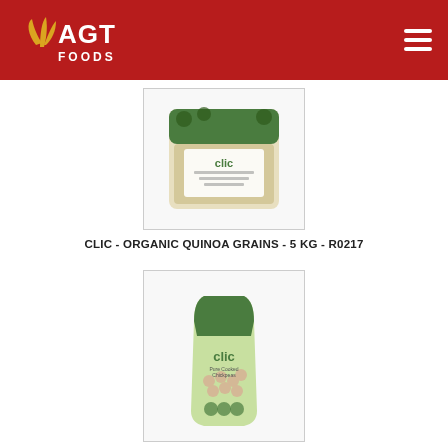[Figure (logo): AGT Foods logo — golden wheat/leaf icon with white AGT FOODS text on dark red header background]
[Figure (photo): Clic brand organic quinoa grains 5 kg package — large clear bag with green label showing quinoa grains]
CLIC - ORGANIC QUINOA GRAINS - 5 KG - R0217
[Figure (photo): Clic brand chickpeas in a green stand-up pouch bag]